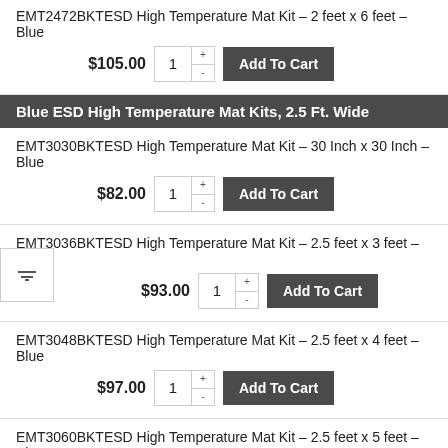EMT2472BKTESD High Temperature Mat Kit – 2 feet x 6 feet – Blue
$105.00  1  Add To Cart
Blue ESD High Temperature Mat Kits, 2.5 Ft. Wide
EMT3030BKTESD High Temperature Mat Kit – 30 Inch x 30 Inch – Blue
$82.00  1  Add To Cart
EMT3036BKTESD High Temperature Mat Kit – 2.5 feet x 3 feet – Blue
$93.00  1  Add To Cart
EMT3048BKTESD High Temperature Mat Kit – 2.5 feet x 4 feet – Blue
$97.00  1  Add To Cart
EMT3060BKTESD High Temperature Mat Kit – 2.5 feet x 5 feet – Blue